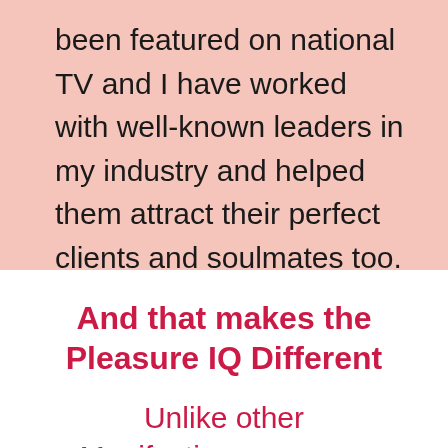been featured on national TV and I have worked with well-known leaders in my industry and helped them attract their perfect clients and soulmates too.
And that makes the Pleasure IQ Different
Unlike other Manifesting programs